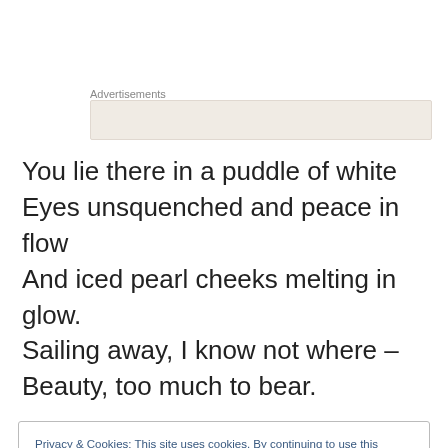[Figure (other): Advertisements placeholder box with label 'Advertisements' above a light beige rectangle]
You lie there in a puddle of white
Eyes unsquenched and peace in flow
And iced pearl cheeks melting in glow.
Sailing away, I know not where –
Beauty, too much to bear.
Privacy & Cookies: This site uses cookies. By continuing to use this website, you agree to their use.
To find out more, including how to control cookies, see here: Cookie Policy
Close and accept